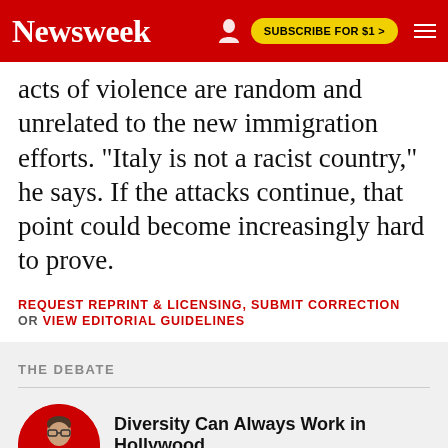Newsweek | SUBSCRIBE FOR $1 >
acts of violence are random and unrelated to the new immigration efforts. "Italy is not a racist country," he says. If the attacks continue, that point could become increasingly hard to prove.
REQUEST REPRINT & LICENSING, SUBMIT CORRECTION OR VIEW EDITORIAL GUIDELINES
THE DEBATE
Diversity Can Always Work in Hollywood
BY H. ALAN SCOTT